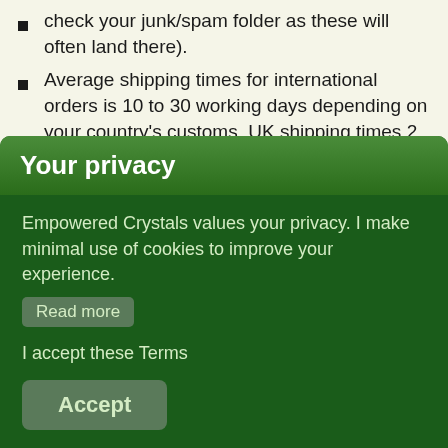check your junk/spam folder as these will often land there).
Average shipping times for international orders is 10 to 30 working days depending on your country's customs. UK shipping times 2 to 10 working days.
If you need an item quickly please contact me before ordering so I can let you know if I can fulfill your requirements.
You can upgrade your packaging to include a greetings
Your privacy
Empowered Crystals values your privacy. I make minimal use of cookies to improve your experience.
Read more
I accept these Terms
Accept